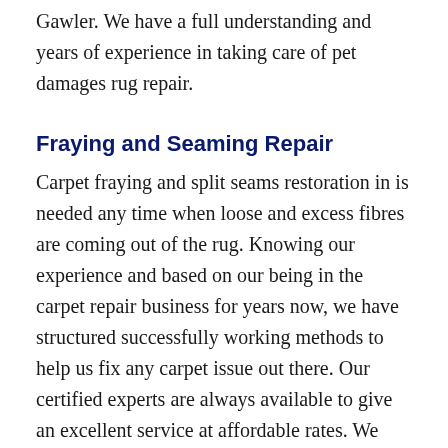Gawler. We have a full understanding and years of experience in taking care of pet damages rug repair.
Fraying and Seaming Repair
Carpet fraying and split seams restoration in is needed any time when loose and excess fibres are coming out of the rug. Knowing our experience and based on our being in the carpet repair business for years now, we have structured successfully working methods to help us fix any carpet issue out there. Our certified experts are always available to give an excellent service at affordable rates. We also have the capabilities to arrive within one hour on the day of your reservation